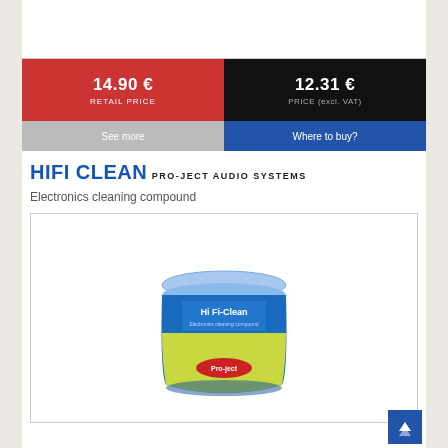| RETAIL PRICE | PRICE (excl. VAT) |
| --- | --- |
| 14.90 € | 12.31 € |
See more | Where to buy?
HIFI CLEAN
PRO-JECT AUDIO SYSTEMS
Electronics cleaning compound
[Figure (photo): Blue round container of Hi Fi-Clean by Pro-Ject Audio Systems, electronics cleaning compound]